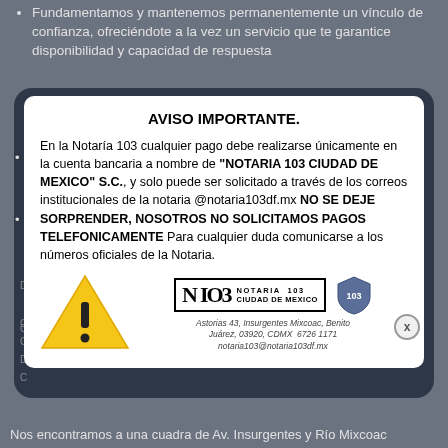Fundamentamos y mantenemos permanentemente un vínculo de confianza, ofreciéndote a la vez un servicio que te garantice disponibilidad y capacidad de respuesta
AVISO IMPORTANTE.
En la Notaría 103 cualquier pago debe realizarse únicamente en la cuenta bancaria a nombre de "NOTARIA 103 CIUDAD DE MEXICO" S.C., y solo puede ser solicitado a través de los correos institucionales de la notaria @notaria103df.mx NO SE DEJE SORPRENDER, NOSOTROS NO SOLICITAMOS PAGOS TELEFONICAMENTE Para cualquier duda comunicarse a los números oficiales de la Notaria.
[Figure (logo): Warning triangle icon with exclamation mark, and Notaria 103 Ciudad de Mexico logo with shield emblem and address]
Astorias 43, Insurgentes Mixcoac, Benito Juárez, 03920, CDMX  6726 1171
notaria103@notaria103df.mx
Nos encontramos a una cuadra de Av. Insurgentes y Río Mixcoac